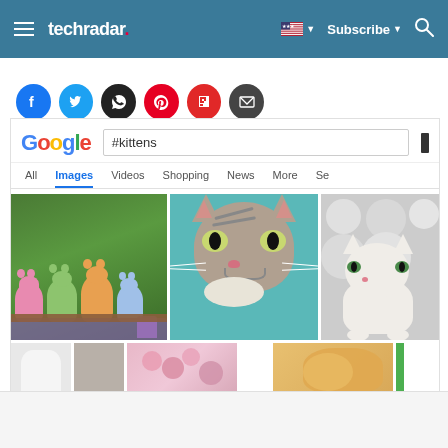techradar — Subscribe — Search
[Figure (screenshot): Social sharing buttons: Facebook (blue), Twitter (cyan), WhatsApp (black), Pinterest (red), Flipboard (red), Email (dark gray)]
[Figure (screenshot): Google Images search results page showing search query '#kittens' with tabs: All, Images (active), Videos, Shopping, News, More, Se. Three kitten images visible in main grid row: colorful kittens group, gray tabby kitten face close-up, fluffy white kitten. Partial second row of thumbnails visible.]